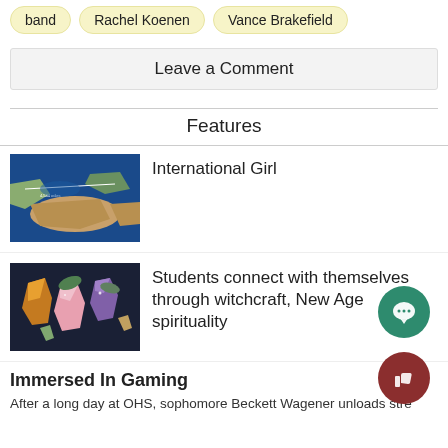band
Rachel Koenen
Vance Brakefield
Leave a Comment
Features
[Figure (photo): Satellite map showing geographic area over blue ocean and land masses with a route line drawn across]
International Girl
[Figure (photo): Assorted crystals and gemstones in various colors including pink, orange, and purple arranged on a dark surface with green foliage]
Students connect with themselves through witchcraft, New Age spirituality
Immersed In Gaming
After a long day at OHS, sophomore Beckett Wagener unloads stre